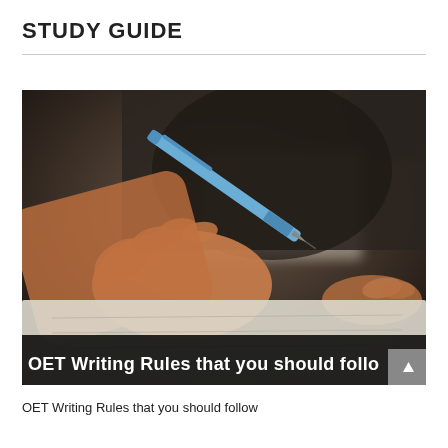STUDY GUIDE
[Figure (photo): Close-up photo of a person's hand holding a blue pen and writing on paper, with a dark background. A white text overlay at the bottom reads 'OET Writing Rules that you should follow'.]
OET Writing Rules that you should follow